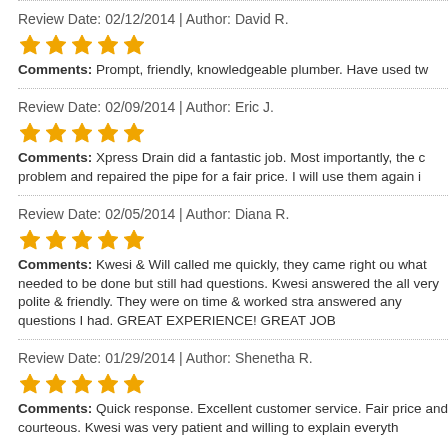Review Date: 02/12/2014 | Author: David R.
Comments: Prompt, friendly, knowledgeable plumber. Have used tw
Review Date: 02/09/2014 | Author: Eric J.
Comments: Xpress Drain did a fantastic job. Most importantly, the c problem and repaired the pipe for a fair price. I will use them again i
Review Date: 02/05/2014 | Author: Diana R.
Comments: Kwesi &amp; Will called me quickly, they came right ou what needed to be done but still had questions. Kwesi answered the all very polite &amp; friendly. They were on time &amp; worked stra answered any questions I had. GREAT EXPERIENCE! GREAT JOB
Review Date: 01/29/2014 | Author: Shenetha R.
Comments: Quick response. Excellent customer service. Fair price and courteous. Kwesi was very patient and willing to explain everyth